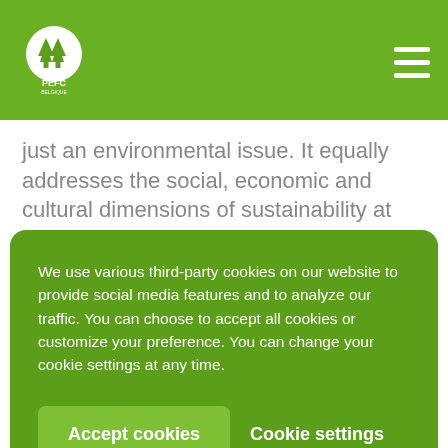[Figure (logo): PEFC logo - white circular emblem with tree icons on green background]
just an environmental issue. It equally addresses the social, economic and cultural dimensions of sustainability at the core of the 17 SDGs.
We use various third-party cookies on our website to provide social media features and to analyze our traffic. You can choose to accept all cookies or customize your preference. You can change your cookie settings at any time.
Accept cookies
Cookie settings